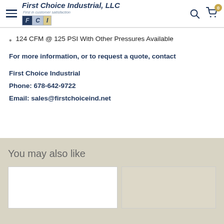First Choice Industrial, LLC - First in customer satisfaction
124 CFM @ 125 PSI With Other Pressures Available
For more information, or to request a quote, contact
First Choice Industrial
Phone: 678-642-9722
Email: sales@firstchoiceind.net
You may also like